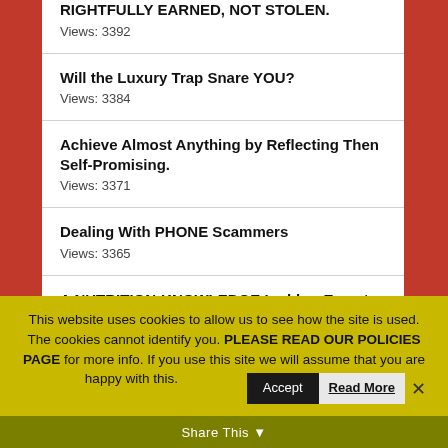RIGHTFULLY EARNED, NOT STOLEN.
Views: 3392
Will the Luxury Trap Snare YOU?
Views: 3384
Achieve Almost Anything by Reflecting Then Self-Promising.
Views: 3371
Dealing With PHONE Scammers
Views: 3365
A NUTRITION-KNOWLEDGE Ladder: Easy-to-Learn.
Views: 3357
This website uses cookies to allow us to see how the site is used. The cookies cannot identify you. PLEASE READ OUR POLICIES PAGE for more info. If you use this site we will assume that you are happy with this.
Share This